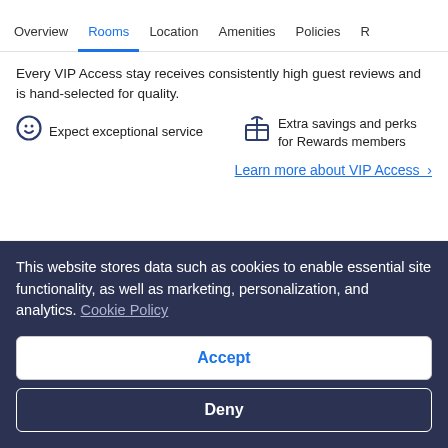Overview | Rooms | Location | Amenities | Policies | R
Every VIP Access stay receives consistently high guest reviews and is hand-selected for quality.
Expect exceptional service
Extra savings and perks for Rewards members
Learn more about VIP Access >
Choose dates to view prices
Check-in
Check-out
This website stores data such as cookies to enable essential site functionality, as well as marketing, personalization, and analytics. Cookie Policy
Accept
Deny